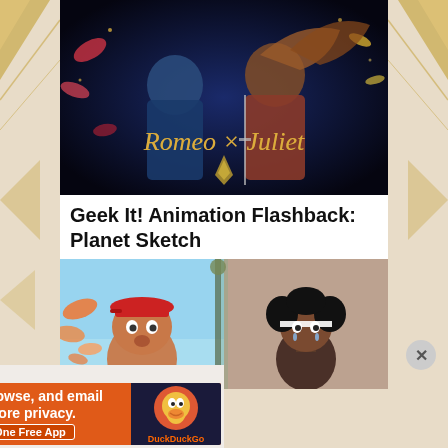[Figure (illustration): Romeo x Juliet anime promotional artwork showing two characters against a dark blue fantasy background with golden title text 'Romeo x Juliet']
Geek It! Animation Flashback: Planet Sketch
[Figure (screenshot): Planet Sketch animated show screenshot showing two CGI cartoon characters - one with a red cap on the left side with a light blue sky background, one with black hair on the right with a building background]
Advertisements
[Figure (illustration): DuckDuckGo advertisement banner: 'Search, browse, and email with more privacy. All in One Free App' with DuckDuckGo logo on orange background]